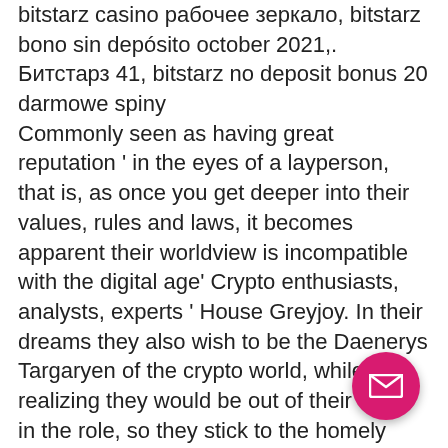bitstarz casino рабочее зеркало, bitstarz bono sin depósito october 2021,. Битстарз 41, bitstarz no deposit bonus 20 darmowe spiny
 Commonly seen as having great reputation ' in the eyes of a layperson, that is, as once you get deeper into their values, rules and laws, it becomes apparent their worldview is incompatible with the digital age' Crypto enthusiasts, analysts, experts ' House Greyjoy. In their dreams they also wish to be the Daenerys Targaryen of the crypto world, while also realizing they would be out of their depth in the role, so they stick to the homely castle on the Iron Islands, bitstarz casino промокод 2021. A player is awarded $10k after registration and can try how traders earn real money, bitstarz casino отзывы игроков. There are charts, real-time pri... and other tools which help during this ... responsible task. Ethereum, Litecoin, and
[Figure (other): Pink/magenta circular email button with envelope icon, positioned bottom-right]